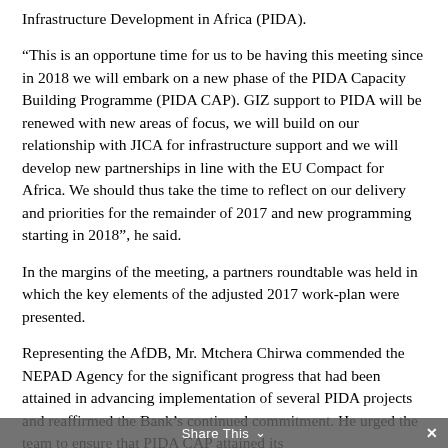Infrastructure Development in Africa (PIDA).
“This is an opportune time for us to be having this meeting since in 2018 we will embark on a new phase of the PIDA Capacity Building Programme (PIDA CAP). GIZ support to PIDA will be renewed with new areas of focus, we will build on our relationship with JICA for infrastructure support and we will develop new partnerships in line with the EU Compact for Africa. We should thus take the time to reflect on our delivery and priorities for the remainder of 2017 and new programming starting in 2018”, he said.
In the margins of the meeting, a partners roundtable was held in which the key elements of the adjusted 2017 work-plan were presented.
Representing the AfDB, Mr. Mtchera Chirwa commended the NEPAD Agency for the significant progress that had been attained in advancing implementation of several PIDA projects and reaffirmed the Bank’s continued commitment. He urged the team to ensure that PIDA CAP attained its